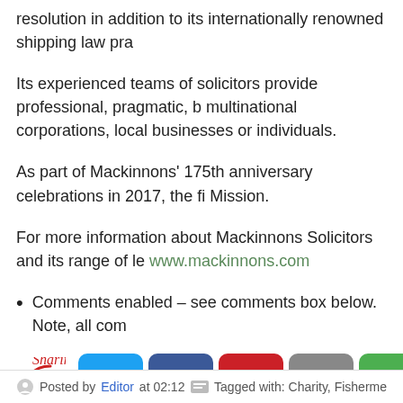resolution in addition to its internationally renowned shipping law pra...
Its experienced teams of solicitors provide professional, pragmatic, b... multinational corporations, local businesses or individuals.
As part of Mackinnons' 175th anniversary celebrations in 2017, the fi... Mission.
For more information about Mackinnons Solicitors and its range of le... www.mackinnons.com
Comments enabled – see comments box below. Note, all com...
[Figure (infographic): Sharing is caring! graphic with social media share buttons: Twitter (blue), Facebook (dark blue), Pinterest (red), Email (grey), More (green)]
Posted by Editor at 02:12    Tagged with: Charity, Fisherme...